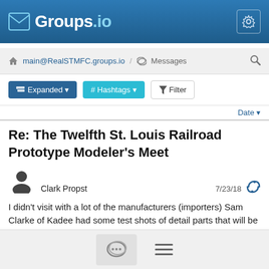Groups.io
main@RealSTMFC.groups.io / Messages
Expanded  # Hashtags  Filter
Date
Re: The Twelfth St. Louis Railroad Prototype Modeler's Meet
Clark Propst  7/23/18
I didn't visit with a lot of the manufacturers (importers) Sam Clarke of Kadee had some test shots of detail parts that will be